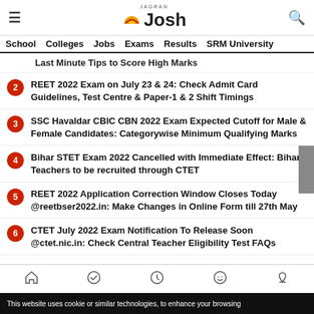Jagran Josh — School | Colleges | Jobs | Exams | Results | SRM University
Last Minute Tips to Score High Marks
2. REET 2022 Exam on July 23 & 24: Check Admit Card Guidelines, Test Centre & Paper-1 & 2 Shift Timings
3. SSC Havaldar CBIC CBN 2022 Exam Expected Cutoff for Male & Female Candidates: Categorywise Minimum Qualifying Marks
4. Bihar STET Exam 2022 Cancelled with Immediate Effect: Bihar Teachers to be recruited through CTET
5. REET 2022 Application Correction Window Closes Today @reetbser2022.in: Make Changes in Online Form till 27th May
6. CTET July 2022 Exam Notification To Release Soon @ctet.nic.in: Check Central Teacher Eligibility Test FAQs
This website uses cookie or similar technologies, to enhance your browsing